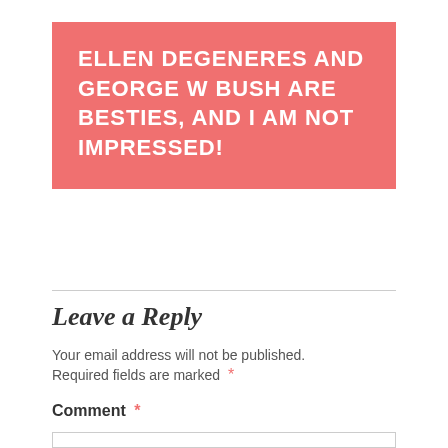ELLEN DEGENERES AND GEORGE W BUSH ARE BESTIES, AND I AM NOT IMPRESSED!
Leave a Reply
Your email address will not be published. Required fields are marked *
Comment *